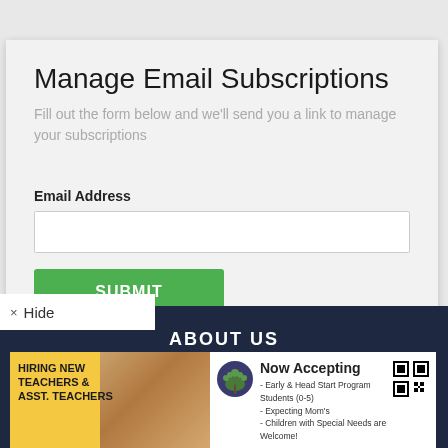Manage Email Subscriptions
Fill out the form below and we'll send you a link to manage your subscriptions
Email Address
SUBMIT
× Hide
ABOUT US
[Figure (photo): Advertisement banner: left side shows yellow background with 'HIRING NEW TEACHERS & ASST. TEACHERS' text and photo of children playing. Right side shows tree logo with 'Now Accepting' heading and bullet points about Early & Head Start Program Students, Expecting Moms, Children with Special Needs are Welcome, with QR code.]